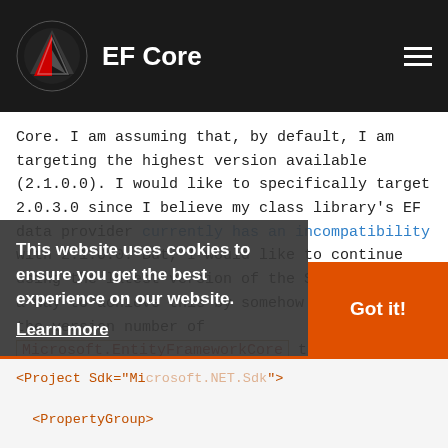EF Core
Core. I am assuming that, by default, I am targeting the highest version available (2.1.0.0). I would like to specifically target 2.0.3.0 since I believe my class library's EF data provider currently has an incompatibility with 2.1.0.0. But, I would like to continue using the latest version of the SDK. Is there a way to achieve this by somehow specifying the version number of Microsoft.EntityFrameworkCore to use?
I have already worked through the 2.x to 2.1 migration guide if that matters. Here are the relevant parts of my class library's .csproj for reference:
This website uses cookies to ensure you get the best experience on our website. Learn more
Got it!
<Project Sdk="Microsoft.NET.Sdk">
  <PropertyGroup>